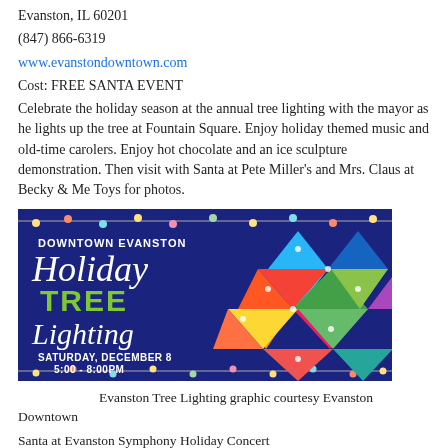Evanston, IL 60201
(847) 866-6319
www.evanstondowntown.com
Cost: FREE SANTA EVENT
Celebrate the holiday season at the annual tree lighting with the mayor as he lights up the tree at Fountain Square. Enjoy holiday themed music and old-time carolers. Enjoy hot chocolate and an ice sculpture demonstration. Then visit with Santa at Pete Miller's and Mrs. Claus at Becky & Me Toys for photos.
[Figure (illustration): Downtown Evanston Holiday Tree Lighting event graphic with a geometric colorful Christmas tree made of triangles on a dark blue background with string lights. Text reads: DOWNTOWN EVANSTON Holiday TREE Lighting SATURDAY, DECEMBER 8 5:00 - 8:00PM]
Evanston Tree Lighting graphic courtesy Evanston Downtown
Santa at Evanston Symphony Holiday Concert
Sunday December 2nd, 2018